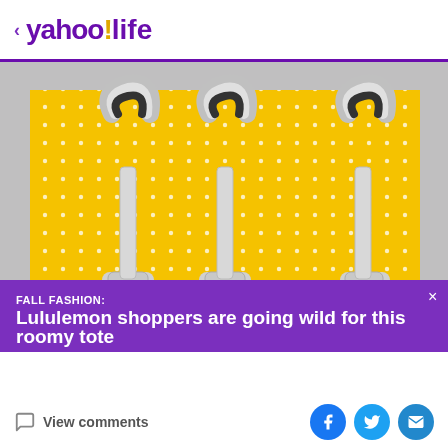< yahoo!life
[Figure (photo): Three Dyson bladeless fan/purifier towers arranged side by side against a yellow polka-dot background]
FALL FASHION:
Lululemon shoppers are going wild for this roomy tote
View comments